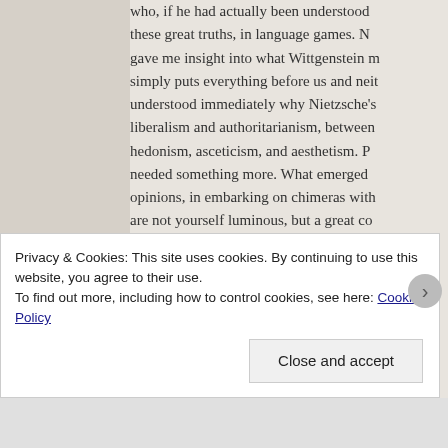who, if he had actually been understood these great truths, in language games. N gave me insight into what Wittgenstein m simply puts everything before us and neit understood immediately why Nietzsche's liberalism and authoritarianism, between hedonism, asceticism, and aesthetism. P needed something more. What emerged opinions, in embarking on chimeras with are not yourself luminous, but a great co (Hounds of Baskerville)

I think we suffer from the Nietzschean dis unable to admit that anything so famous,
Privacy & Cookies: This site uses cookies. By continuing to use this website, you agree to their use.
To find out more, including how to control cookies, see here: Cookie Policy
Close and accept